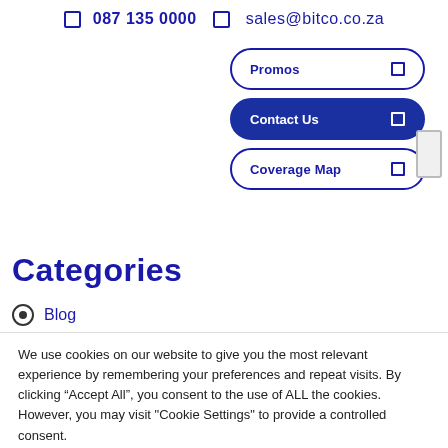087 135 0000  sales@bitco.co.za
[Figure (screenshot): Navigation menu buttons: Promos, Contact Us (active/highlighted), Coverage Map]
Categories
Blog
We use cookies on our website to give you the most relevant experience by remembering your preferences and repeat visits. By clicking "Accept All", you consent to the use of ALL the cookies. However, you may visit "Cookie Settings" to provide a controlled consent.
Cookie Settings  Accept All